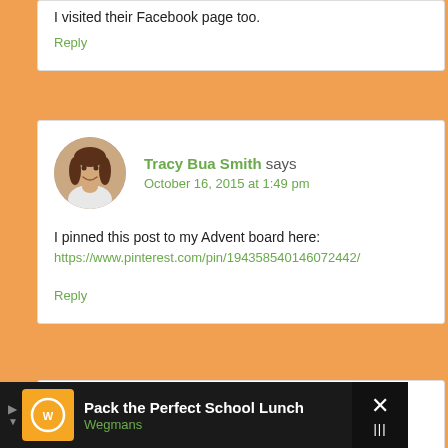I visited their Facebook page too.
Reply
Tracy Bua Smith says
October 16, 2015 at 1:49 pm
I pinned this post to my Advent board here:
https://www.pinterest.com/pin/194358540146072442/
Reply
[Figure (photo): Round avatar photo of Tracy Bua Smith, a woman with long brown hair, smiling, outdoors with green background]
Pack the Perfect School Lunch Wegmans
[Figure (logo): Wegmans circular logo in orange box]
[Figure (infographic): Blue navigation/map icon (diamond with arrow)]